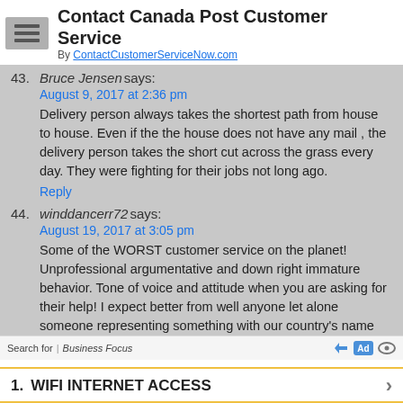Contact Canada Post Customer Service
By ContactCustomerServiceNow.com
43. Bruce Jensen says:
August 9, 2017 at 2:36 pm
Delivery person always takes the shortest path from house to house. Even if the the house does not have any mail , the delivery person takes the short cut across the grass every day. They were fighting for their jobs not long ago.
Reply
44. winddancerr72 says:
August 19, 2017 at 3:05 pm
Some of the WORST customer service on the planet! Unprofessional argumentative and down right immature behavior. Tone of voice and attitude when you are asking for their help! I expect better from well anyone let alone someone representing something with our country's name on it.
Never did resolve the problem btw, but I dealt with
Search for | Business Focus
1. WIFI INTERNET ACCESS